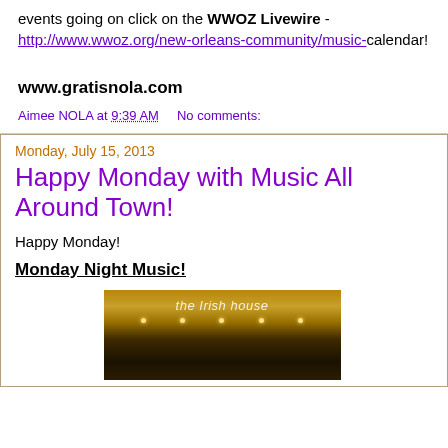events going on click on the WWOZ Livewire - http://www.wwoz.org/new-orleans-community/music-calendar!
www.gratisnola.com
Aimee NOLA at 9:39 AM    No comments:
Monday, July 15, 2013
Happy Monday with Music All Around Town!
Happy Monday!
Monday Night Music!
[Figure (photo): Photo of The Irish House bar/restaurant exterior sign with warm golden lighting]